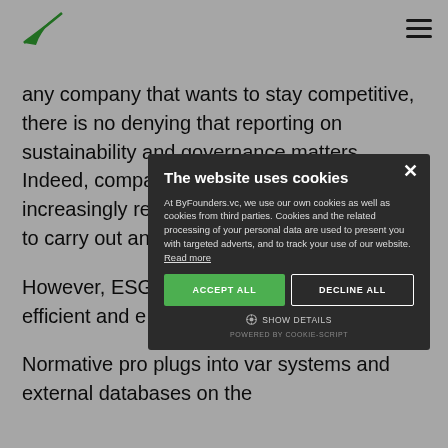ByFounders logo and navigation menu
any company that wants to stay competitive, there is no denying that reporting on sustainability and governance matters. Indeed, companies worldwide are increasingly required by laws and regulations to carry out and
However, ESG slow, costly an issue by offeri efficient and e in a verifiable
Normative pro plugs into var systems and external databases on the
[Figure (screenshot): Cookie consent modal dialog with dark background. Title: 'The website uses cookies'. Body text: 'At ByFounders.vc, we use our own cookies as well as cookies from third parties. Cookies and the related processing of your personal data are used to present you with targeted adverts, and to track your use of our website. Read more'. Buttons: 'ACCEPT ALL' (green), 'DECLINE ALL' (outlined). Show details option and powered by Cookie-Script footer.]